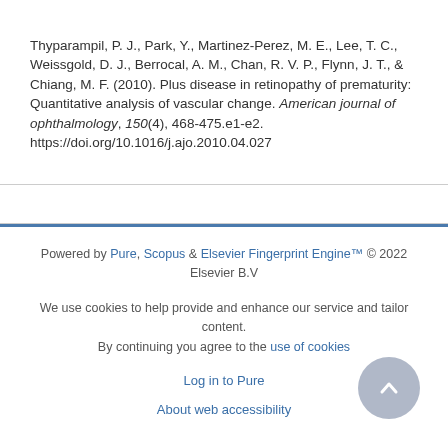Thyparampil, P. J., Park, Y., Martinez-Perez, M. E., Lee, T. C., Weissgold, D. J., Berrocal, A. M., Chan, R. V. P., Flynn, J. T., & Chiang, M. F. (2010). Plus disease in retinopathy of prematurity: Quantitative analysis of vascular change. American journal of ophthalmology, 150(4), 468-475.e1-e2. https://doi.org/10.1016/j.ajo.2010.04.027
Powered by Pure, Scopus & Elsevier Fingerprint Engine™ © 2022 Elsevier B.V

We use cookies to help provide and enhance our service and tailor content. By continuing you agree to the use of cookies

Log in to Pure

About web accessibility